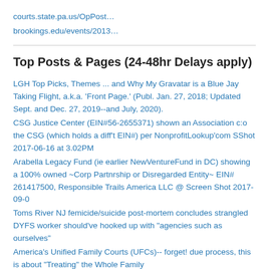courts.state.pa.us/OpPost…
brookings.edu/events/2013…
Top Posts & Pages (24-48hr Delays apply)
LGH Top Picks, Themes ... and Why My Gravatar is a Blue Jay Taking Flight, a.k.a. 'Front Page.' (Publ. Jan. 27, 2018; Updated Sept. and Dec. 27, 2019--and July, 2020).
CSG Justice Center (EIN#56-2655371) shown an Association c:o the CSG (which holds a diff't EIN#) per NonprofitLookup'com SShot 2017-06-16 at 3.02PM
Arabella Legacy Fund (ie earlier NewVentureFund in DC) showing a 100% owned ~Corp Partnrship or Disregarded Entity~ EIN# 261417500, Responsible Trails America LLC @ Screen Shot 2017-09-0
Toms River NJ femicide/suicide post-mortem concludes strangled DYFS worker should've hooked up with "agencies such as ourselves"
America's Unified Family Courts (UFCs)-- forget! due process, this is about "Treating" the Whole Family
NewVentureFund FY2015 PUBLIC COPY Pt VIIB showing 13'1M Mgmt